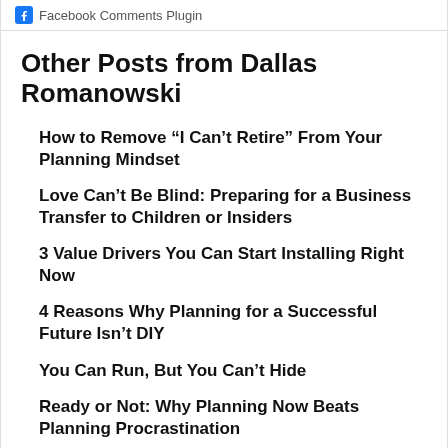Facebook Comments Plugin
Other Posts from Dallas Romanowski
How to Remove “I Can’t Retire” From Your Planning Mindset
Love Can’t Be Blind: Preparing for a Business Transfer to Children or Insiders
3 Value Drivers You Can Start Installing Right Now
4 Reasons Why Planning for a Successful Future Isn’t DIY
You Can Run, But You Can’t Hide
Ready or Not: Why Planning Now Beats Planning Procrastination